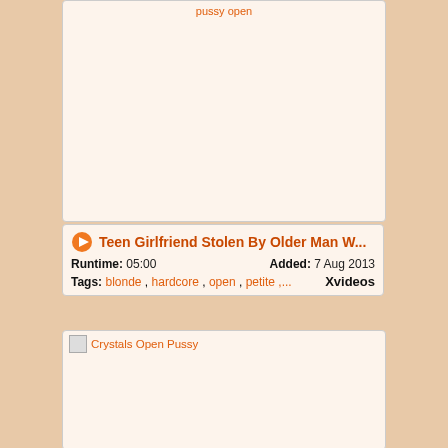pussy open
[Figure (photo): Thumbnail image area (blank/unloaded) for first video card]
Teen Girlfriend Stolen By Older Man W...
Runtime: 05:00   Added: 7 Aug 2013
Tags: blonde , hardcore , open , petite ,....   Xvideos
Crystals Open Pussy
[Figure (photo): Thumbnail image area (blank/unloaded) for second video card]